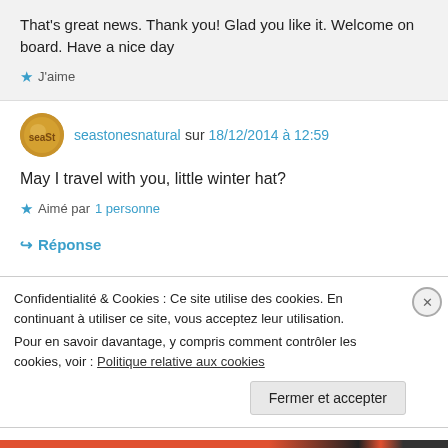That's great news. Thank you! Glad you like it. Welcome on board. Have a nice day
★ J'aime
seastonesnatural sur 18/12/2014 à 12:59
May I travel with you, little winter hat?
★ Aimé par 1 personne
↪ Réponse
Confidentialité & Cookies : Ce site utilise des cookies. En continuant à utiliser ce site, vous acceptez leur utilisation.
Pour en savoir davantage, y compris comment contrôler les cookies, voir : Politique relative aux cookies
Fermer et accepter